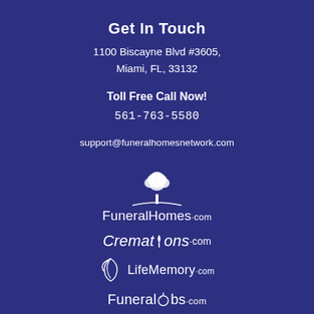Get In Touch
1100 Biscayne Blvd #3605,
Miami, FL, 33132
Toll Free Call Now!
561-763-5580
support@funeralhomesnetwork.com
[Figure (logo): FuneralHomes.com logo with tree illustration and curved line]
[Figure (logo): Cremations.com logo in italic serif font with leaf accent on letter i]
[Figure (logo): LifeMemory.com logo with stylized open book/flame icon]
[Figure (logo): FuneralJobs.com logo with stylized letter o replaced by leaf/sprout icon]